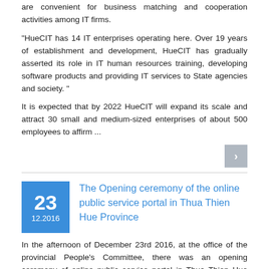are convenient for business matching and cooperation activities among IT firms.
“HueCIT has 14 IT enterprises operating here. Over 19 years of establishment and development, HueCIT has gradually asserted its role in IT human resources training, developing software products and providing IT services to State agencies and society. "
It is expected that by 2022 HueCIT will expand its scale and attract 30 small and medium-sized enterprises of about 500 employees to affirm ...
The Opening ceremony of the online public service portal in Thua Thien Hue Province
In the afternoon of December 23rd 2016, at the office of the provincial People's Committee, there was an opening ceremony of online public service portal in Thua Thien Hue province in the model of the Online Civic Center at the address https : //dichvucong.thuathienhue.gov.vn